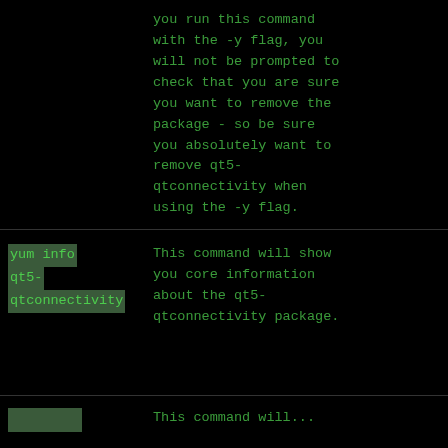you run this command with the -y flag, you will not be prompted to check that you are sure you want to remove the package - so be sure you absolutely want to remove qt5-qtconnectivity when using the -y flag.
| Command | Description |
| --- | --- |
| yum info qt5-qtconnectivity | This command will show you core information about the qt5-qtconnectivity package. |
This command will...